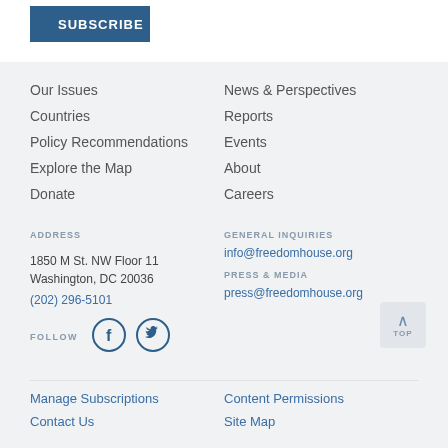[Figure (other): Subscribe button with arrow in dark blue]
Our Issues
Countries
Policy Recommendations
Explore the Map
Donate
News & Perspectives
Reports
Events
About
Careers
ADDRESS
1850 M St. NW Floor 11
Washington, DC 20036
(202) 296-5101
GENERAL INQUIRIES
info@freedomhouse.org
PRESS & MEDIA
press@freedomhouse.org
FOLLOW
[Figure (other): Facebook and Twitter social media icons (circles with f and bird)]
[Figure (other): Back to top button with chevron and TOP label]
Manage Subscriptions
Contact Us
Content Permissions
Site Map